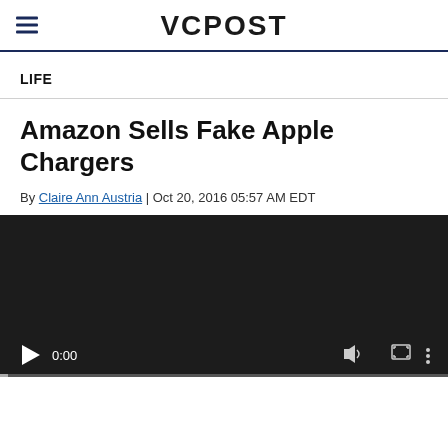VCPOST
LIFE
Amazon Sells Fake Apple Chargers
By Claire Ann Austria | Oct 20, 2016 05:57 AM EDT
[Figure (screenshot): Embedded video player with dark background, play button, time display showing 0:00, volume, fullscreen, and menu controls, with a progress bar at the bottom.]